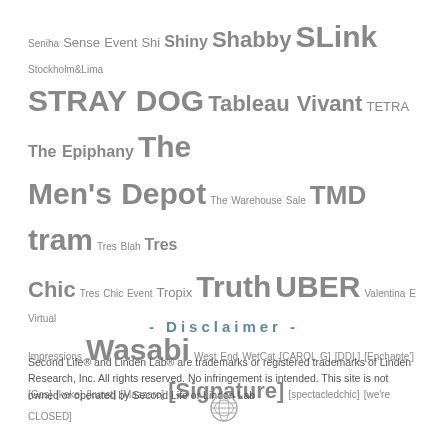Seniha Sense Event Shi Shiny Shabby SLink Stockholm&Lima STRAY DOG Tableau Vivant TETRA The Epiphany The Men's Depot The Warehouse Sale TMD tram Tres Blah Tres Chic Tres Chic Event Tropix Truth UBER Valentina E Virtual Impressions Wasabi West End WetCat [CAROL G] [DDL] [Enchante'] [Gos] [keke] [kunst] [Mazzaro] [Signature] [spectacledchic] [we're CLOSED]
- Disclaimer -
Second Life® and Linden Lab® are trademarks or registered trademarks of Linden Research, Inc. All rights reserved. No infringement is intended. This site is not owned or operated by Second Life or Linden Lab